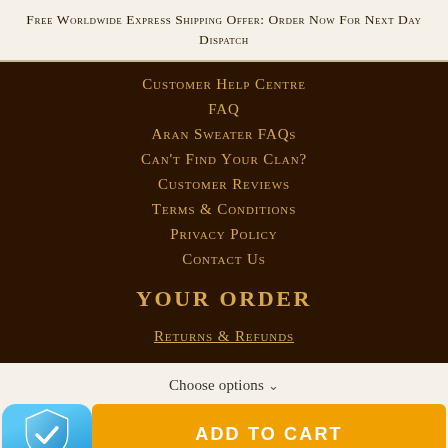Free Worldwide Express Shipping Offer: Order Now For Next Day Dispatch
Customer Help Centre
FAQ
Aran Sweater FAQs
Can't Find Your Clan?
Customer Reviews
Terms & Conditions
Privacy Policy
Contact Us
YOUR ORDER
Returns & Refunds
Choose options ∨
ADD TO CART